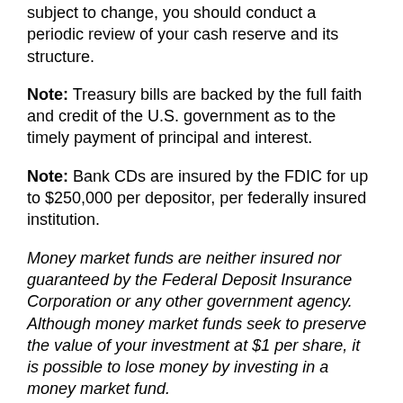subject to change, you should conduct a periodic review of your cash reserve and its structure.
Note: Treasury bills are backed by the full faith and credit of the U.S. government as to the timely payment of principal and interest.
Note: Bank CDs are insured by the FDIC for up to $250,000 per depositor, per federally insured institution.
Money market funds are neither insured nor guaranteed by the Federal Deposit Insurance Corporation or any other government agency. Although money market funds seek to preserve the value of your investment at $1 per share, it is possible to lose money by investing in a money market fund.
Mutual funds are sold by prospectus. Please consider the investment objectives, risks, charges, and expenses carefully before investing. The prospectus, which contains this and other information about the investment company, can be obtained from your financial professional. Be sure